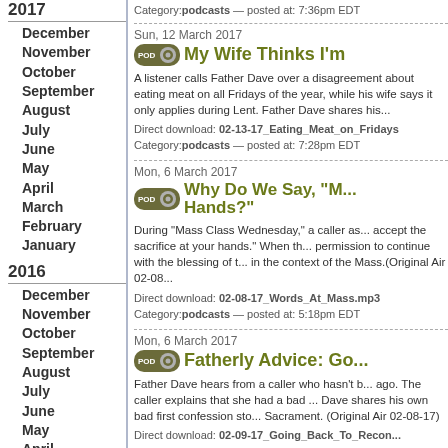2017
December
November
October
September
August
July
June
May
April
March
February
January
2016
December
November
October
September
August
July
June
May
April
March
February
2015
December
November
October
August
Category:podcasts — posted at: 7:36pm EDT
Sun, 12 March 2017
My Wife Thinks I'm...
A listener calls Father Dave over a disagreement about eating meat on all Fridays of the year, while his wife says it only applies during Lent. Father Dave shares his...
Direct download: 02-13-17_Eating_Meat_on_Fridays...
Category:podcasts — posted at: 7:28pm EDT
Mon, 6 March 2017
Why Do We Say, "M... Hands?"
During "Mass Class Wednesday," a caller as... accept the sacrifice at your hands." When th... permission to continue with the blessing of t... in the context of the Mass.(Original Air 02-08...
Direct download: 02-08-17_Words_At_Mass.mp3
Category:podcasts — posted at: 5:18pm EDT
Mon, 6 March 2017
Fatherly Advice: Go...
Father Dave hears from a caller who hasn't b... ago. The caller explains that she had a bad ... Dave shares his own bad first confession sto... Sacrament. (Original Air 02-08-17)
Direct download: 02-09-17_Going_Back_To_Recon...